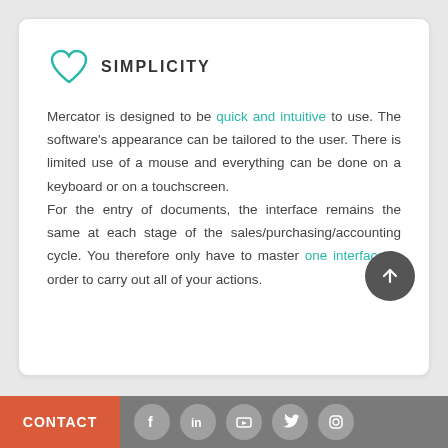SIMPLICITY
Mercator is designed to be quick and intuitive to use. The software's appearance can be tailored to the user. There is limited use of a mouse and everything can be done on a keyboard or on a touchscreen.
For the entry of documents, the interface remains the same at each stage of the sales/purchasing/accounting cycle. You therefore only have to master one interface in order to carry out all of your actions.
CONTACT